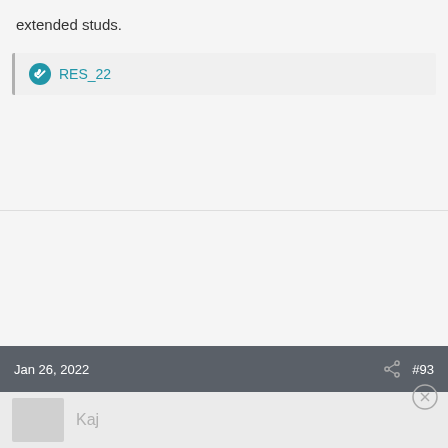extended studs.
RES_22
Jan 26, 2022   #93